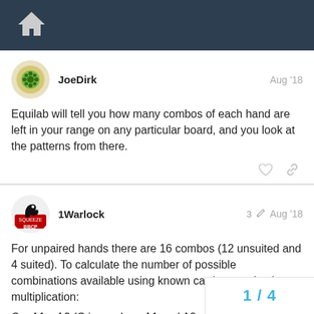Home navigation bar
JoeDirk Aug '18
Equilab will tell you how many combos of each hand are left in your range on any particular board, and you look at the patterns from there.
1Warlock 3 Aug '18
For unpaired hands there are 16 combos (12 unsuited and 4 suited). To calculate the number of possible combinations available using known cards, use simple multiplication:
C = A1 x A2 (C is combos, A1 and A2 are the available cards)
1 / 4